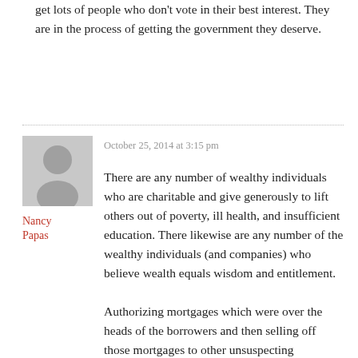get lots of people who don't vote in their best interest. They are in the process of getting the government they deserve.
[Figure (illustration): Grey silhouette avatar of a person (anonymous user icon)]
Nancy Papas
October 25, 2014 at 3:15 pm
There are any number of wealthy individuals who are charitable and give generously to lift others out of poverty, ill health, and insufficient education. There likewise are any number of the wealthy individuals (and companies) who believe wealth equals wisdom and entitlement.

Authorizing mortgages which were over the heads of the borrowers and then selling off those mortgages to other unsuspecting financial institutions, an ultimately labeled